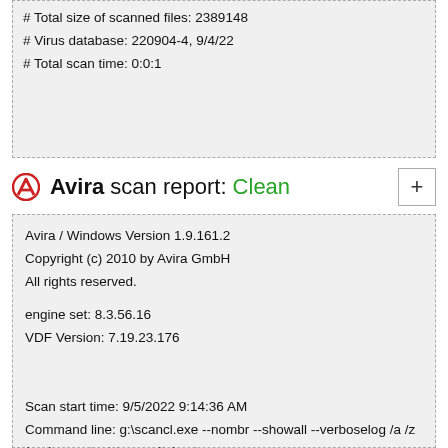# Total size of scanned files: 2389148
# Virus database: 220904-4, 9/4/22
# Total scan time: 0:0:1
Avira scan report: Clean
Avira / Windows Version 1.9.161.2
Copyright (c) 2010 by Avira GmbH
All rights reserved.

engine set: 8.3.56.16
VDF Version: 7.19.23.176


Scan start time: 9/5/2022 9:14:36 AM
Command line: g:\scancl.exe --nombr --showall --verboselog /a /z /s --log=output.tmp switchsetup.exe

configuration file: g:\scancl.conf
switchsetup.exe